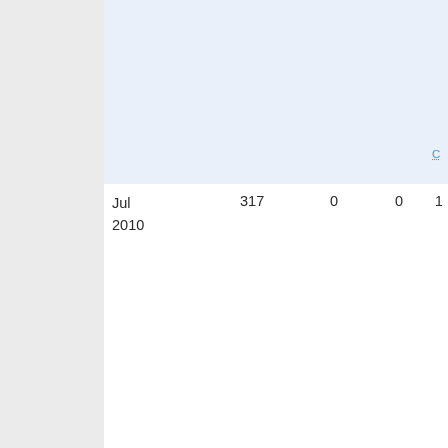| Date | Col1 | Col2 | Col3 | Col4 |
| --- | --- | --- | --- | --- |
| Jul 2010 | 317 | 0 | 0 |  |
| Jun 2010 | 864 | 0 | 0 | 3 |